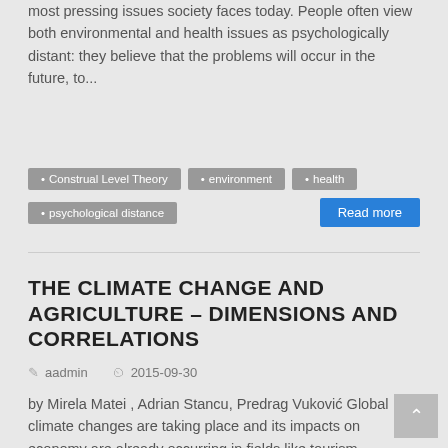most pressing issues society faces today. People often view both environmental and health issues as psychologically distant: they believe that the problems will occur in the future, to...
• Construal Level Theory
• environment
• health
• psychological distance
THE CLIMATE CHANGE AND AGRICULTURE – DIMENSIONS AND CORRELATIONS
aadmin   2015-09-30
by Mirela Matei , Adrian Stancu, Predrag Vuković Global climate changes are taking place and its impacts on economy are already occurring in fields like tourism, agriculture, forestry, infrastructure, insurance industry or